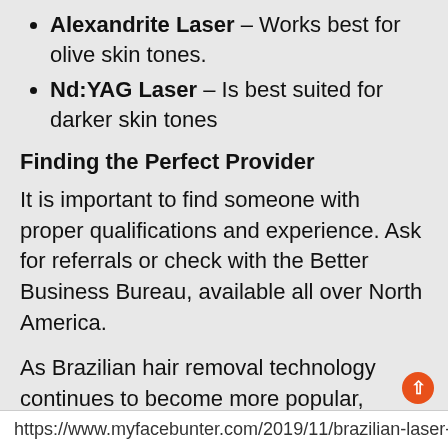Alexandrite Laser – Works best for olive skin tones.
Nd:YAG Laser – Is best suited for darker skin tones
Finding the Perfect Provider
It is important to find someone with proper qualifications and experience. Ask for referrals or check with the Better Business Bureau, available all over North America.
As Brazilian hair removal technology continues to become more popular, finding a provider near you is easier than ever.
TAGS: Adriana Lima 987 Beauty 936
SHARE: (social icons: Twitter, Facebook, Pinterest, WhatsApp, More)
https://www.myfacebunter.com/2019/11/brazilian-laser-h